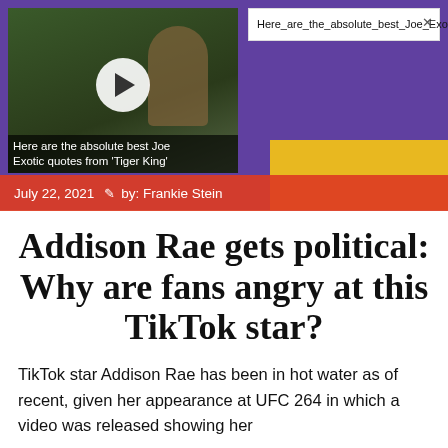[Figure (screenshot): Video thumbnail showing a person outdoors with a play button overlay. Caption reads: Here are the absolute best Joe Exotic quotes from 'Tiger King']
Here_are_the_a...
Here_are_the_absolute_best_Joe_Exotic_quotes_from_'Tiger_King'_1080p
July 22, 2021  by: Frankie Stein
Addison Rae gets political: Why are fans angry at this TikTok star?
TikTok star Addison Rae has been in hot water as of recent, given her appearance at UFC 264 in which a video was released showing her